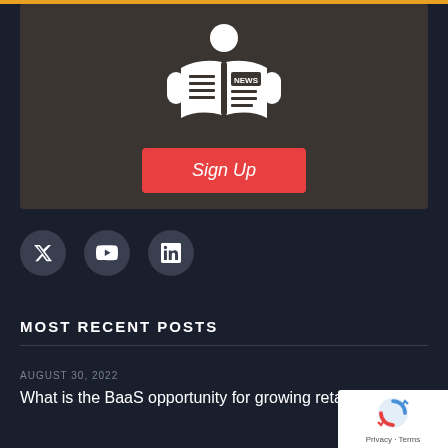[Figure (illustration): News newsletter signup box with dark brown background, person reading news book icon in white, and a red Sign Up button]
[Figure (illustration): Social media icons: Twitter (X), YouTube, LinkedIn as dark circle buttons]
MOST RECENT POSTS
AUGUST 30, 2022
What is the BaaS opportunity for growing retailers?